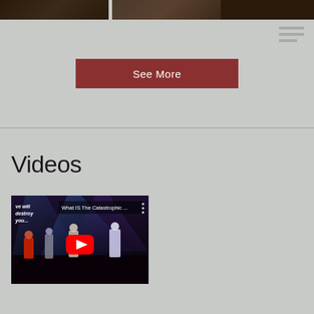[Figure (photo): Two photos side by side at top of page — left shows a dark interior scene, right shows a person]
[Figure (other): Hamburger menu icon (three horizontal lines) in top right]
See More
Videos
[Figure (screenshot): YouTube video thumbnail for 'What IS The Catastrophic ...' showing performers on stage with colorful lighting and a red YouTube play button overlay. Text in top left reads 've will destroy you...']